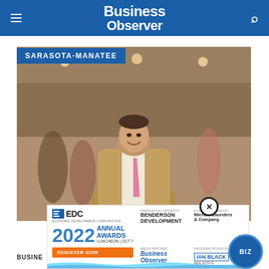Business Observer
SARASOTA-MANATEE
[Figure (photo): Man in tan blazer and pink tie smiling at an indoor event/gathering in what appears to be a retail or event space]
[Figure (infographic): EDC Economic Development Corporation Annual Awards Luncheon Oct 7 2022 advertisement with sponsors Benderson Development, Michael Saunders & Company, Business Observer, Ian Black Real Estate. Register Now button.]
BUSINE...
this ago